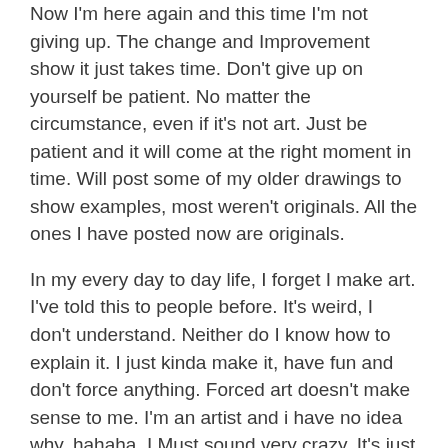Now I'm here again and this time I'm not giving up. The change and Improvement show it just takes time. Don't give up on yourself be patient. No matter the circumstance, even if it's not art. Just be patient and it will come at the right moment in time. Will post some of my older drawings to show examples, most weren't originals. All the ones I have posted now are originals.
In my every day to day life, I forget I make art. I've told this to people before. It's weird, I don't understand. Neither do I know how to explain it. I just kinda make it, have fun and don't force anything. Forced art doesn't make sense to me. I'm an artist and i have no idea why, hahaha. I Must sound very crazy. It's just something I enjoy and picked up as a child. Now I'm here.
Thank you one more time. Peace, love, and happiness to everyone! 🙂
Remeber to not give up on yourself, it's just words playing with your mind. Don't listen to all the mind games. Live your life stress-free.